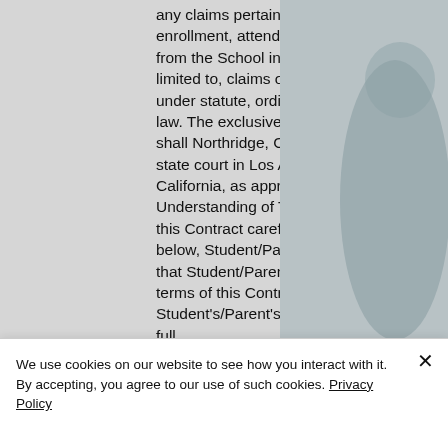any claims pertaining to Student's enrollment, attendance, or separation from the School including, but not limited to, claims of breach of contract, under statute, ordinance, or common law. The exclusive venue for any claim shall Northridge, CA or any California state court in Los Angeles County, California, as appropriate. 23. Understanding of Terms: Please read this Contract carefully. By signing below, Student/Parent acknowledges that Student/Parent understands the terms of this Contract, Student's/Parent's obligation to pay the full
[Figure (photo): Blurred/greyed photo of a person (student) on the right side of the page, used as background image]
We use cookies on our website to see how you interact with it. By accepting, you agree to our use of such cookies. Privacy Policy
Settings
Accept